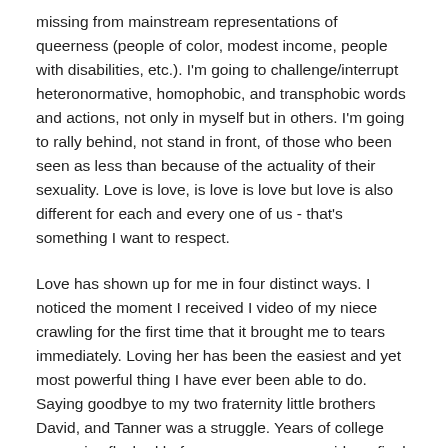missing from mainstream representations of queerness (people of color, modest income, people with disabilities, etc.). I'm going to challenge/interrupt heteronormative, homophobic, and transphobic words and actions, not only in myself but in others. I'm going to rally behind, not stand in front, of those who been seen as less than because of the actuality of their sexuality. Love is love, is love is love but love is also different for each and every one of us - that's something I want to respect.
Love has shown up for me in four distinct ways. I noticed the moment I received I video of my niece crawling for the first time that it brought me to tears immediately. Loving her has been the easiest and yet most powerful thing I have ever been able to do. Saying goodbye to my two fraternity little brothers David, and Tanner was a struggle. Years of college memories flashed before my eyes as we said our final "see you later" and again I found myself moved to tears with the realization that I will be separated from them physical. They have and will